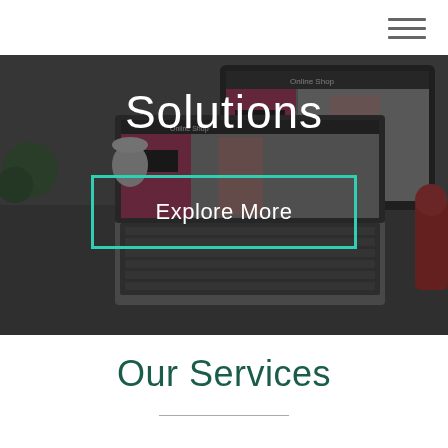[Figure (screenshot): Navigation bar with hamburger menu icon (three horizontal lines) in top-right corner]
[Figure (photo): Hero banner image showing a laptop and monitor displaying an Online Shop website, with a dark overlay, the word 'Solutions' centered in large white text, and an 'Explore More' button with teal/green border below]
Our Services